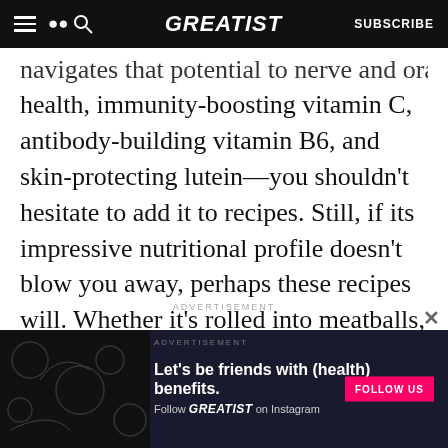GREATIST | SUBSCRIBE
navigates that potential to nerve and oral health, immunity-boosting vitamin C, antibody-building vitamin B6, and skin-protecting lutein—you shouldn't hesitate to add it to recipes. Still, if its impressive nutritional profile doesn't blow you away, perhaps these recipes will. Whether it's rolled into meatballs, baked into potato tots, or blended into ice cream, there's way more to zucchini than noodles (though we included recipes for that too).
ADVERTISEMENT
ADVERTISEMENT
[Figure (other): Greatist Instagram follow advertisement banner with decorative dark background and 'Let's be friends with (health) benefits. Follow Greatist on Instagram' text and a FOLLOW US button]